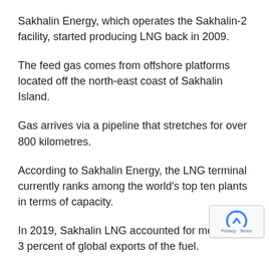Sakhalin Energy, which operates the Sakhalin-2 facility, started producing LNG back in 2009.
The feed gas comes from offshore platforms located off the north-east coast of Sakhalin Island.
Gas arrives via a pipeline that stretches for over 800 kilometres.
According to Sakhalin Energy, the LNG terminal currently ranks among the world's top ten plants in terms of capacity.
In 2019, Sakhalin LNG accounted for more than 3 percent of global exports of the fuel.
The plant delivered more than 8 percent of total LNG